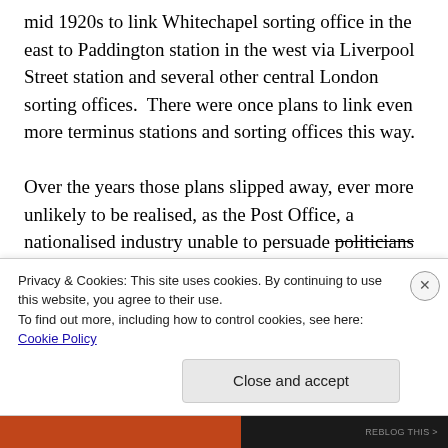mid 1920s to link Whitechapel sorting office in the east to Paddington station in the west via Liverpool Street station and several other central London sorting offices.  There were once plans to link even more terminus stations and sorting offices this way.

Over the years those plans slipped away, ever more unlikely to be realised, as the Post Office, a nationalised industry unable to persuade politicians the treasury of the merits of such
Privacy & Cookies: This site uses cookies. By continuing to use this website, you agree to their use.
To find out more, including how to control cookies, see here:
Cookie Policy

Close and accept